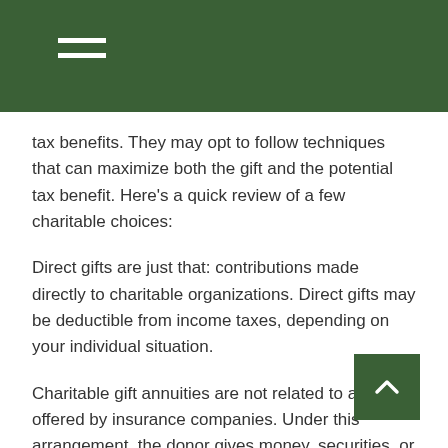tax benefits. They may opt to follow techniques that can maximize both the gift and the potential tax benefit. Here’s a quick review of a few charitable choices:
Direct gifts are just that: contributions made directly to charitable organizations. Direct gifts may be deductible from income taxes, depending on your individual situation.
Charitable gift annuities are not related to annuities offered by insurance companies. Under this arrangement, the donor gives money, securities, or real estate, and in return, the charitable organization agrees to pay the donor a fixed income. Upon the death of the donor, the assets pass to the charitable organization. Charitable gift annuities enable donors to receive consistent income and potentially manage their taxes.
Pooled income funds pool contributions from various